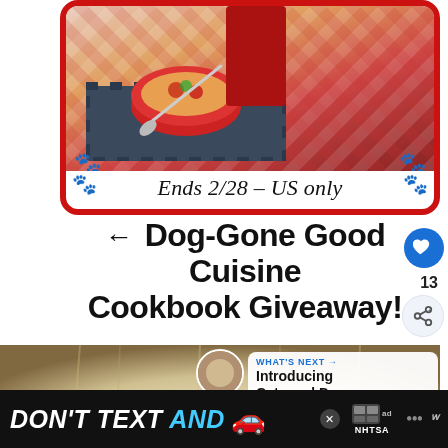[Figure (photo): Giveaway card with red border showing a red bowl of food with spoon, gingham tablecloth, dog paw prints, text reads 'Ends 2/28 - US only']
← Dog-Gone Good Cuisine Cookbook Giveaway!
[Figure (photo): Dog peeking through wooden fence bars, close-up of fluffy white/cream dog fur]
WHAT'S NEXT → Introducing Cats and Dogs
[Figure (photo): Ad banner: DON'T TEXT AND (car emoji) ad NHTSA logo]
DON'T TEXT AND